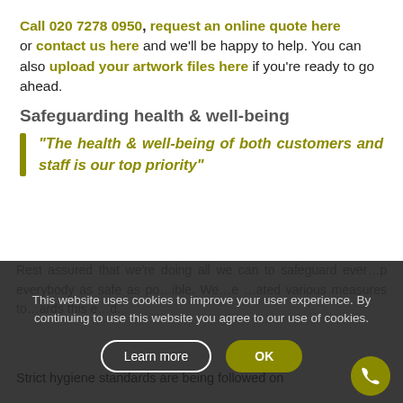Call 020 7278 0950, request an online quote here or contact us here and we'll be happy to help. You can also upload your artwork files here if you're ready to go ahead.
Safeguarding health & well-being
“The health & well-being of both customers and staff is our top priority”
Rest assured that we’re doing all we can to safeguard everyone… everybody as safe as possible. We’ve…ated various measures towards this end.
This website uses cookies to improve your user experience. By continuing to use this website you agree to our use of cookies.
Strict hygiene standards are being followed on